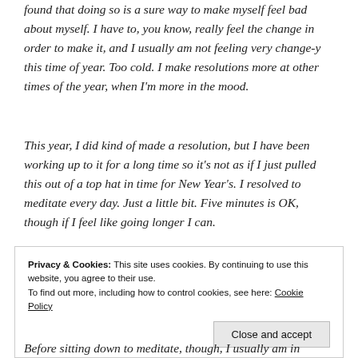found that doing so is a sure way to make myself feel bad about myself. I have to, you know, really feel the change in order to make it, and I usually am not feeling very change-y this time of year. Too cold. I make resolutions more at other times of the year, when I'm more in the mood.
This year, I did kind of made a resolution, but I have been working up to it for a long time so it's not as if I just pulled this out of a top hat in time for New Year's. I resolved to meditate every day. Just a little bit. Five minutes is OK, though if I feel like going longer I can.
Privacy & Cookies: This site uses cookies. By continuing to use this website, you agree to their use.
To find out more, including how to control cookies, see here: Cookie Policy
Close and accept
Before sitting down to meditate, though, I usually am in